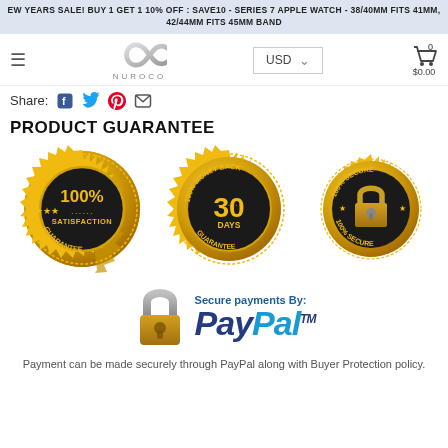EW YEARS SALE! BUY 1 GET 1 10% OFF : SAVE10 - SERIES 7 APPLE WATCH - 38/40MM FITS 41MM, 42/44MM FITS 45MM BAND
[Figure (logo): Nuroco brand navigation bar with hamburger menu, infinity logo, USD currency selector, and shopping cart showing $0.00]
Share:
PRODUCT GUARANTEE
[Figure (infographic): Three gold badge seals: 100% Satisfaction Guarantee, 100% Money Back 30 Days Guarantee, and 100% Secure]
[Figure (logo): Secure payments By: PayPal TM logo with a gold padlock icon]
Payment can be made securely through PayPal along with Buyer Protection policy.